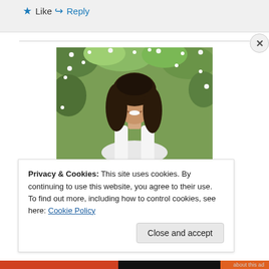★ Like
↪ Reply
[Figure (photo): A smiling young woman with long dark hair wearing a white top, standing in front of a flowering shrub/bush with white flowers and green leaves.]
Privacy & Cookies: This site uses cookies. By continuing to use this website, you agree to their use.
To find out more, including how to control cookies, see here: Cookie Policy
Close and accept